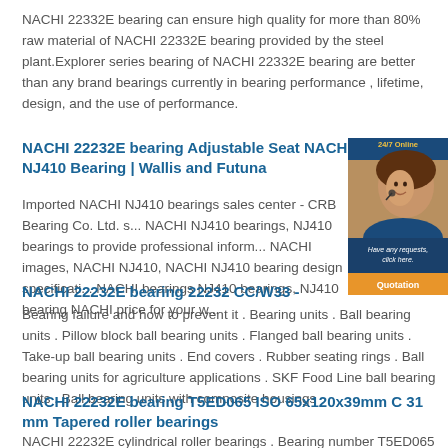NACHI 22332E bearing can ensure high quality for more than 80% raw material of NACHI 22332E bearing provided by the steel plant.Explorer series bearing of NACHI 22332E bearing are better than any brand bearings currently in bearing performance , lifetime, design, and the use of performance.
NACHI 22232E bearing Adjustable Seat NACHI NJ410 Bearing | Wallis and Futuna
Imported NACHI NJ410 bearings sales center - CRB Bearing Co. Ltd. s... NACHI NJ410 bearings, NJ410 bearings to provide professional inform... NACHI images, NACHI NJ410, NACHI NJ410 bearing design specificati... NACHI bearings NJ410 bearings, NJ410 bearing NACHI price for your w...
NACHI 22232E bearing 22232 CC/W33 -
Bearing failure and how to prevent it . Bearing units . Ball bearing units . Pillow block ball bearing units . Flanged ball bearing units . Take-up ball bearing units . End covers . Rubber seating rings . Ball bearing units for agriculture applications . SKF Food Line ball bearing units . Ball bearing units with composite housings
NACHI 22232E bearing T5ED065 ISO 65x120x39mm C 31 mm Tapered roller bearings
NACHI 22232E cylindrical roller bearings . Bearing number T5ED065 Size